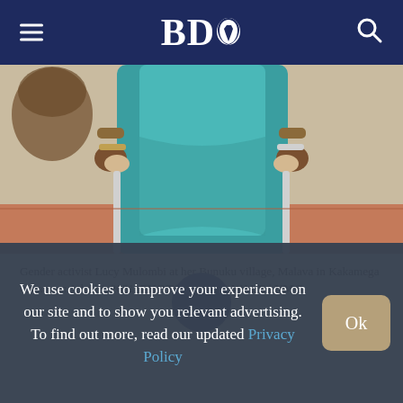BDO
[Figure (photo): A person wearing a teal/blue dress using crutches, standing outdoors. Only the torso, arms, and crutches are visible. Background shows a wall and reddish ground.]
Gender activist Lucy Mulombi at her Bunuku village, Malava in Kakamega county on July 26, 2021. PHOTO | ISAAC WALE | NMG
We use cookies to improve your experience on our site and to show you relevant advertising. To find out more, read our updated Privacy Policy